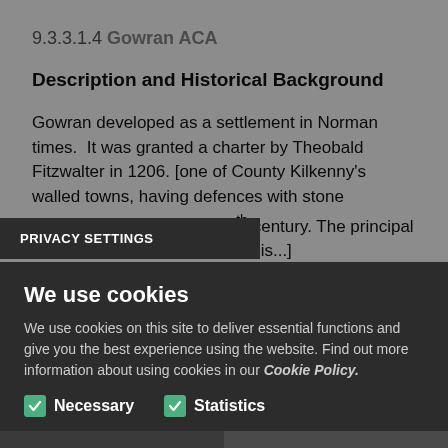9.3.3.1.4 Gowran ACA
Description and Historical Background
Gowran developed as a settlement in Norman times. It was granted a charter by Theobald Fitzwalter in 1206. [one of County Kilkenny's walled towns, having defences with stone gatehouses by the early 15th century. The principal evidence of medieval Gowran is...]
PRIVACY SETTINGS
We use cookies
We use cookies on this site to deliver essential functions and give you the best experience using the website. Find out more information about using cookies in our Cookie Policy.
Necessary
Statistics
SAVE PREFERENCES
ACCEPT ALL COOKIES